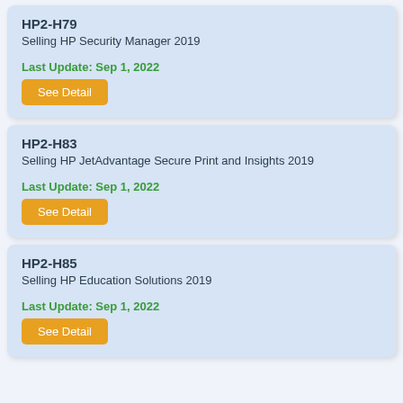HP2-H79
Selling HP Security Manager 2019
Last Update: Sep 1, 2022
See Detail
HP2-H83
Selling HP JetAdvantage Secure Print and Insights 2019
Last Update: Sep 1, 2022
See Detail
HP2-H85
Selling HP Education Solutions 2019
Last Update: Sep 1, 2022
See Detail